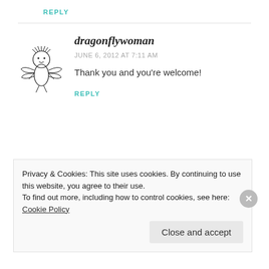REPLY
[Figure (illustration): Hand-drawn illustration of a dragonfly woman figure with wings and flowing hair]
dragonflywoman
JUNE 6, 2012 AT 7:11 AM
Thank you and you're welcome!
REPLY
Privacy & Cookies: This site uses cookies. By continuing to use this website, you agree to their use. To find out more, including how to control cookies, see here: Cookie Policy
Close and accept